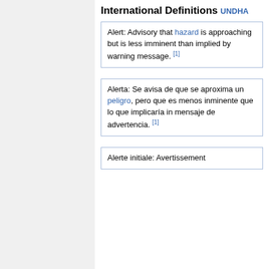International Definitions
UNDHA
Alert: Advisory that hazard is approaching but is less imminent than implied by warning message. [1]
Alerta: Se avisa de que se aproxima un peligro, pero que es menos inminente que lo que implicaría in mensaje de advertencia. [1]
Alerte initiale: Avertissement